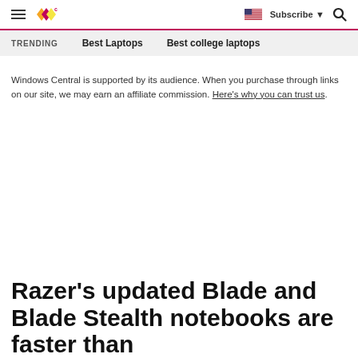Windows Central navigation bar with hamburger menu, WC logo, US flag, Subscribe, and search icon
TRENDING   Best Laptops   Best college laptops
Windows Central is supported by its audience. When you purchase through links on our site, we may earn an affiliate commission. Here's why you can trust us.
Razer's updated Blade and Blade Stealth notebooks are faster than